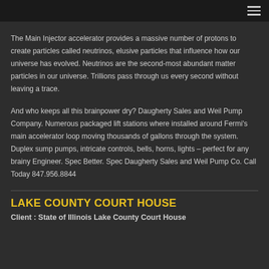Navigation menu header bar
The Main Injector accelerator provides a massive number of protons to create particles called neutrinos, elusive particles that influence how our universe has evolved. Neutrinos are the second-most abundant matter particles in our universe. Trillions pass through us every second without leaving a trace.
And who keeps all this brainpower dry? Daugherty Sales and Weil Pump Company. Numerous packaged lift stations where installed around Fermi's main accelerator loop moving thousands of gallons through the system. Duplex sump pumps, intricate controls, bells, horns, lights – perfect for any brainy Engineer. Spec Better. Spec Daugherty Sales and Weil Pump Co. Call Today 847.956.8844
LAKE COUNTY COURT HOUSE
Client : State of Illinois Lake County Court House